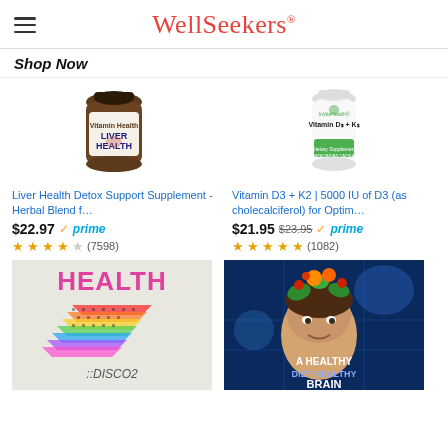WellSeekers
Shop Now
[Figure (photo): Liver Health supplement bottle with dark glass jar and label reading LIVER HEALTH]
Liver Health Detox Support Supplement - Herbal Blend f…
$22.97 prime (7598 reviews, 4.5 stars)
[Figure (photo): Vitamin D3 + K2 white supplement bottle with green label]
Vitamin D3 + K2 | 5000 IU of D3 (as cholecalciferol) for Optim…
$21.95 $23.95 prime (1082 reviews, 5 stars)
[Figure (photo): HEALTH ::DISCO2 album cover with rainbow lightning bolt design on light background]
[Figure (photo): A Healthy Diet Healthy Brain book cover showing a woman with vegetables on her head against blue digital background]